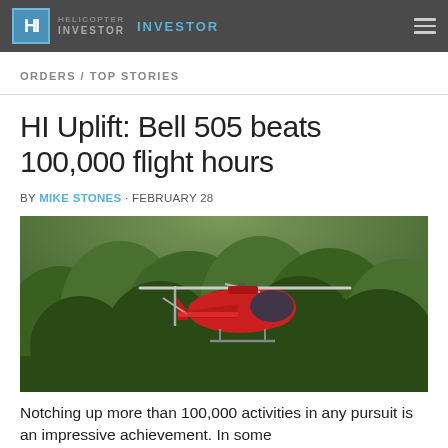HI INVESTOR INVESTOR
ORDERS / TOP STORIES
HI Uplift: Bell 505 beats 100,000 flight hours
BY MIKE STONES · FEBRUARY 28
[Figure (photo): A red Bell 505 helicopter in flight against a backdrop of dense green forest/trees.]
Notching up more than 100,000 activities in any pursuit is an impressive achievement. In some